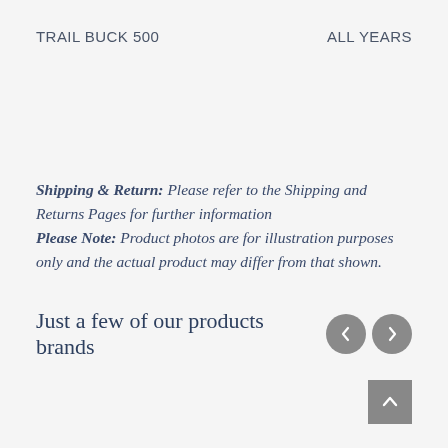TRAIL BUCK 500    ALL YEARS
Shipping & Return: Please refer to the Shipping and Returns Pages for further information
Please Note: Product photos are for illustration purposes only and the actual product may differ from that shown.
Just a few of our products brands
[Figure (other): Navigation buttons: left arrow and right arrow in circular grey buttons, and a scroll-to-top button with upward chevron in a grey square]